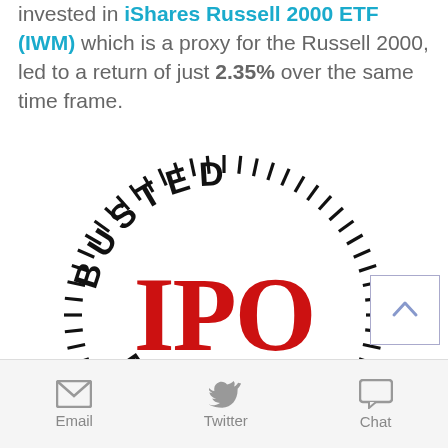invested in iShares Russell 2000 ETF (IWM) which is a proxy for the Russell 2000, led to a return of just 2.35% over the same time frame.
[Figure (logo): Circular stamp/logo with tick marks around the border reading 'BUSTED' at the top and 'FORUM' at the bottom in black block letters, with 'IPO' in large red serif letters in the center.]
Email   Twitter   Chat